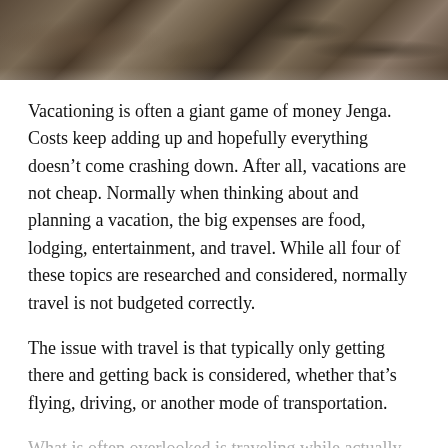[Figure (photo): Landscape/nature photo banner at top of page showing rocky terrain or muddy water surface with dark earthy tones]
Vacationing is often a giant game of money Jenga. Costs keep adding up and hopefully everything doesn't come crashing down. After all, vacations are not cheap. Normally when thinking about and planning a vacation, the big expenses are food, lodging, entertainment, and travel. While all four of these topics are researched and considered, normally travel is not budgeted correctly.
The issue with travel is that typically only getting there and getting back is considered, whether that's flying, driving, or another mode of transportation.
What is often overlooked is traveling while actually on vacation. Depending on the trip, this can add up to quite